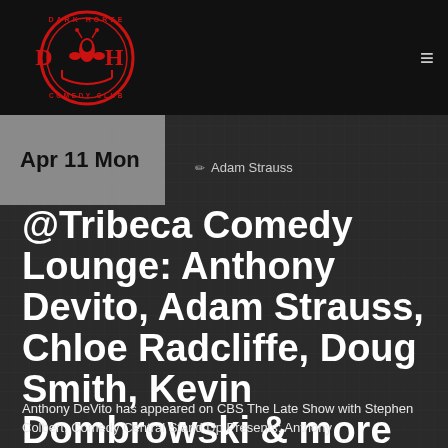[Figure (logo): Dark Horse Comedy Club circular red logo with DH letters and horseshoe design]
Apr 11 Mon
Adam Strauss
@Tribeca Comedy Lounge: Anthony Devito, Adam Strauss, Chloe Radcliffe, Doug Smith, Kevin Dombrowski & more
Anthony DeVito has appeared on CBS The Late Show with Stephen Colbert, Comedy Central Stand Up Presents: Anthony